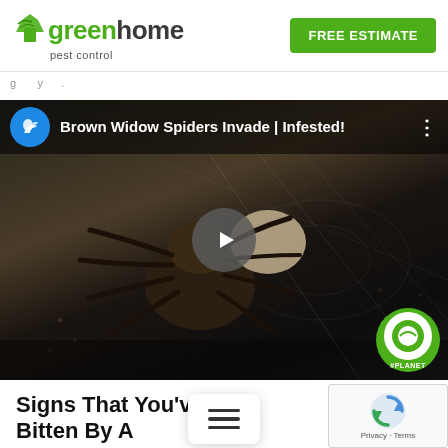greenhome pest control | FREE ESTIMATE
[Figure (screenshot): YouTube video thumbnail showing a brown widow spider with egg sac on a web. Channel icon shows a blue raptor/dinosaur logo. Video title reads 'Brown Widow Spiders Invade | Infested!' with a play button overlay and Animal Planet watermark in bottom right corner.]
Signs That You've Bitten By A Spider